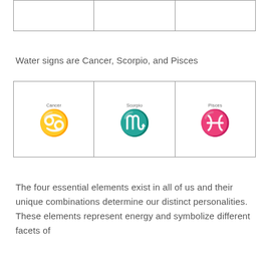|  |  |  |
Water signs are Cancer, Scorpio, and Pisces
| Cancer ♋ | Scorpio ♏ | Pisces ♓ |
The four essential elements exist in all of us and their unique combinations determine our distinct personalities. These elements represent energy and symbolize different facets of